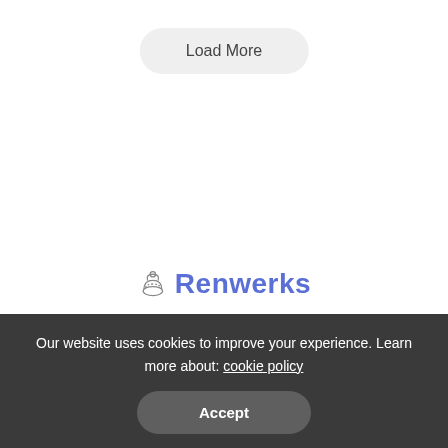Load More
[Figure (logo): Chef hat icon with Renwerks text logo in blue/purple]
[Figure (infographic): Row of 5 social media icons: Facebook (blue-purple circle), Twitter (cyan circle), Pinterest (red circle), Instagram (purple circle), YouTube (red circle)]
Home   Disclaimer   About Us   Contact Us   DMCA
Privacy Policy   Terms of Use
Our website uses cookies to improve your experience. Learn more about: cookie policy
Accept